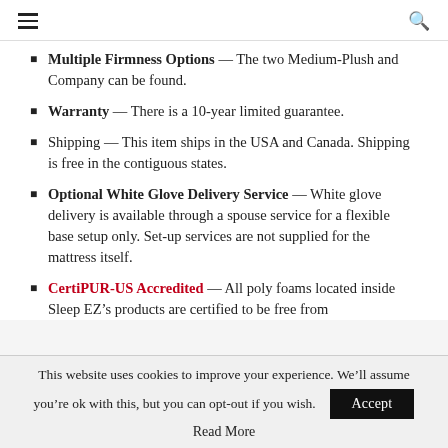≡  🔍
Multiple Firmness Options — The two Medium-Plush and Company can be found.
Warranty — There is a 10-year limited guarantee.
Shipping — This item ships in the USA and Canada. Shipping is free in the contiguous states.
Optional White Glove Delivery Service — White glove delivery is available through a spouse service for a flexible base setup only. Set-up services are not supplied for the mattress itself.
CertiPUR-US Accredited — All poly foams located inside Sleep EZ's products are certified to be free from
This website uses cookies to improve your experience. We'll assume you're ok with this, but you can opt-out if you wish. Accept
Read More